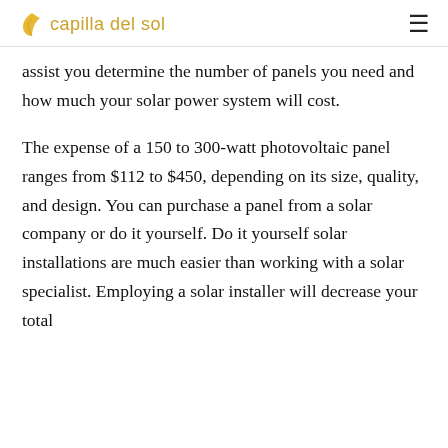capilla del sol
assist you determine the number of panels you need and how much your solar power system will cost.
The expense of a 150 to 300-watt photovoltaic panel ranges from $112 to $450, depending on its size, quality, and design. You can purchase a panel from a solar company or do it yourself. Do it yourself solar installations are much easier than working with a solar specialist. Employing a solar installer will decrease your total